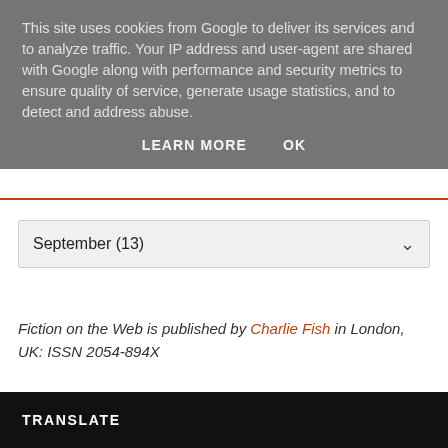This site uses cookies from Google to deliver its services and to analyze traffic. Your IP address and user-agent are shared with Google along with performance and security metrics to ensure quality of service, generate usage statistics, and to detect and address abuse.
LEARN MORE   OK
September (13)
Fiction on the Web is published by Charlie Fish in London, UK: ISSN 2054-894X
TRANSLATE